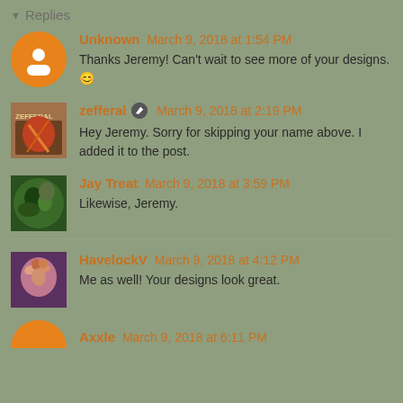▾ Replies
Unknown March 9, 2018 at 1:54 PM
Thanks Jeremy! Can't wait to see more of your designs. 😊
zefferal ✏ March 9, 2018 at 2:19 PM
Hey Jeremy. Sorry for skipping your name above. I added it to the post.
Jay Treat March 9, 2018 at 3:59 PM
Likewise, Jeremy.
HavelockV March 9, 2018 at 4:12 PM
Me as well! Your designs look great.
Axxle March 9, 2018 at 6:11 PM